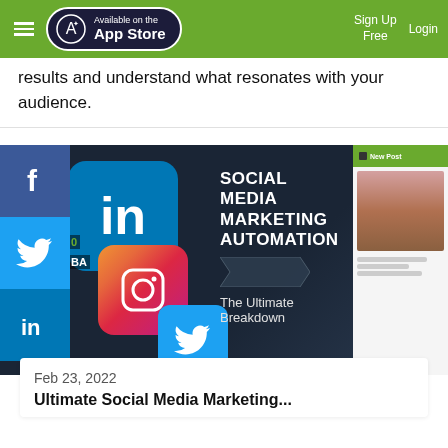Available on the App Store | Sign Up Free | Login
results and understand what resonates with your audience.
[Figure (screenshot): Social media marketing automation promotional image with social media logos (Facebook, Twitter, LinkedIn, Instagram) and text reading 'SOCIAL MEDIA MARKETING AUTOMATION The Ultimate Breakdown']
Feb 23, 2022
Ultimate Social Media Marketing...